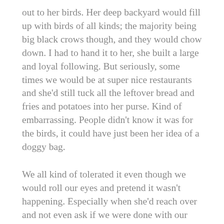out to her birds. Her deep backyard would fill up with birds of all kinds; the majority being big black crows though, and they would chow down. I had to hand it to her, she built a large and loyal following. But seriously, some times we would be at super nice restaurants and she'd still tuck all the leftover bread and fries and potatoes into her purse. Kind of embarrassing. People didn't know it was for the birds, it could have just been her idea of a doggy bag.
We all kind of tolerated it even though we would roll our eyes and pretend it wasn't happening. Especially when she'd reach over and not even ask if we were done with our fries. She would just assume we hadn't touched them in the last two minutes, I'd look down, and they'd be gone.
Fast forward twenty something years. My wife had a bird feeder. It had a. But serious, she had built a loyal following i